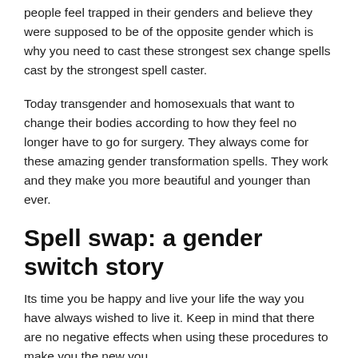people feel trapped in their genders and believe they were supposed to be of the opposite gender which is why you need to cast these strongest sex change spells cast by the strongest spell caster.
Today transgender and homosexuals that want to change their bodies according to how they feel no longer have to go for surgery. They always come for these amazing gender transformation spells. They work and they make you more beautiful and younger than ever.
Spell swap: a gender switch story
Its time you be happy and live your life the way you have always wished to live it. Keep in mind that there are no negative effects when using these procedures to make you the new you.
Male to female gender change spells are spells deed to make sure that you are changed from being male to a female. You will completely change physically and only those that you will wish to remember you will do so but during transformation